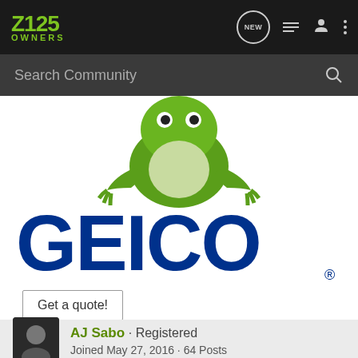Z125 OWNERS
Search Community
[Figure (logo): GEICO insurance advertisement featuring the GEICO gecko sitting on top of the large blue GEICO logo with registered trademark symbol, and a 'Get a quote!' button below]
Get a quote!
AJ Sabo · Registered
Joined May 27, 2016 · 64 Posts